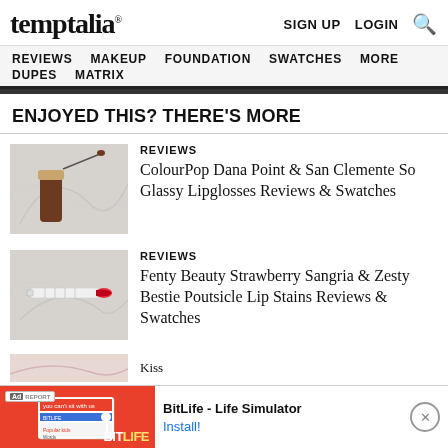temptalia® | SIGN UP  LOGIN  🔍
REVIEWS  MAKEUP  FOUNDATION  SWATCHES  MORE  DUPES  MATRIX
ENJOYED THIS? THERE'S MORE
[Figure (photo): Lipgloss bottle with applicator wand on marble surface]
REVIEWS
ColourPop Dana Point & San Clemente So Glassy Lipglosses Reviews & Swatches
[Figure (photo): Lip stain applicator wand on marble surface]
REVIEWS
Fenty Beauty Strawberry Sangria & Zesty Bestie Poutsicle Lip Stains Reviews & Swatches
[Figure (screenshot): Ad banner: BitLife - Life Simulator Install!  ...Kiss]